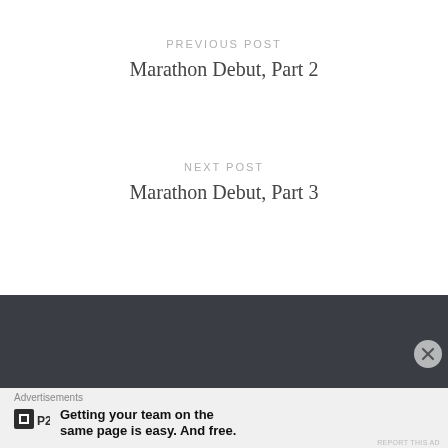PREVIOUS POST
Marathon Debut, Part 2
NEXT POST
Marathon Debut, Part 3
Advertisements
Getting your team on the same page is easy. And free.
REPORT THIS AD